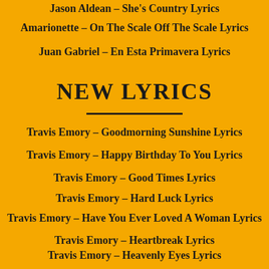Jason Aldean – She's Country Lyrics
Amarionette – On The Scale Off The Scale Lyrics
Juan Gabriel – En Esta Primavera Lyrics
NEW LYRICS
Travis Emory – Goodmorning Sunshine Lyrics
Travis Emory – Happy Birthday To You Lyrics
Travis Emory – Good Times Lyrics
Travis Emory – Hard Luck Lyrics
Travis Emory – Have You Ever Loved A Woman Lyrics
Travis Emory – Heartbreak Lyrics
Travis Emory – Heavenly Eyes Lyrics
Travis Emory – Hello Baby, Merry Christmas Lyrics